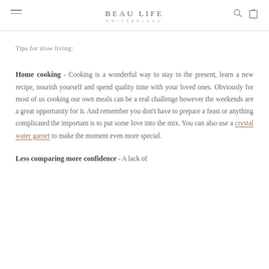BEAU LIFE SWITZERLAND
Tips for slow living:
Home cooking - Cooking is a wonderful way to stay in the present, learn a new recipe, nourish yourself and spend quality time with your loved ones. Obviously for most of us cooking our own meals can be a real challenge however the weekends are a great opportunity for it. And remember you don't have to prepare a feast or anything complicated the important is to put some love into the mix. You can also use a crystal water garnet to make the moment even more special.
Less comparing more confidence - A lack of